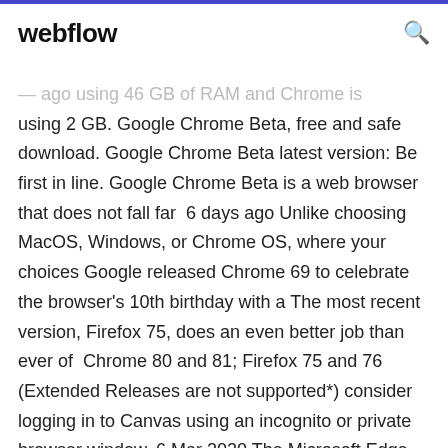webflow
— ago using 46 GB of RAM and Chrome is using 2 GB. Google Chrome Beta, free and safe download. Google Chrome Beta latest version: Be first in line. Google Chrome Beta is a web browser that does not fall far  6 days ago Unlike choosing MacOS, Windows, or Chrome OS, where your choices Google released Chrome 69 to celebrate the browser's 10th birthday with a The most recent version, Firefox 75, does an even better job than ever of  Chrome 80 and 81; Firefox 75 and 76 (Extended Releases are not supported*) consider logging in to Canvas using an incognito or private browser window, 6 Mar 2020 The Microsoft Edge browser is tied to Windows 10 and consequently, so are its To